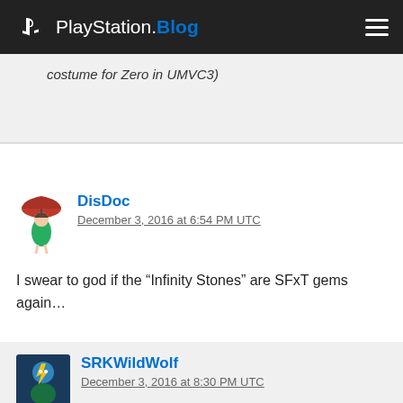PlayStation.Blog
costume for Zero in UMVC3)
DisDoc
December 3, 2016 at 6:54 PM UTC
I swear to god if the “Infinity Stones” are SFxT gems again…
SRKWildWolf
December 3, 2016 at 8:30 PM UTC